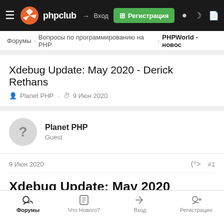phpclub — Вход | Регистрация
Форумы › Вопросы по программированию на PHP › PHPWorld - новос
Xdebug Update: May 2020 - Derick Rethans
Planet PHP · 9 Июн 2020
Planet PHP
Guest
9 Июн 2020	#1
Xdebug Update: May 2020
Форумы   Что Нового?   Вход   Регистрация